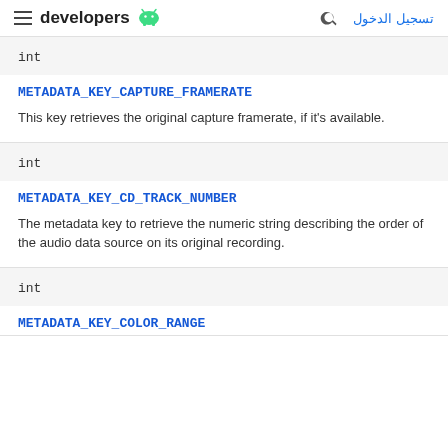developers (Android logo) | search | تسجيل الدخول
int
METADATA_KEY_CAPTURE_FRAMERATE
This key retrieves the original capture framerate, if it's available.
int
METADATA_KEY_CD_TRACK_NUMBER
The metadata key to retrieve the numeric string describing the order of the audio data source on its original recording.
int
METADATA_KEY_COLOR_RANGE